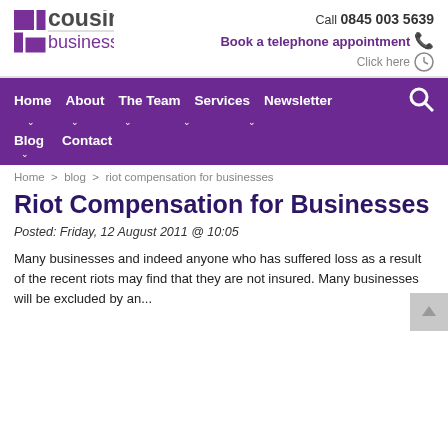[Figure (logo): SB Cousins Business Law logo in purple]
Call 0845 003 5639
Book a telephone appointment
Click here
Home  About  The Team  Services  Newsletter  Blog  Contact
Home > blog > riot compensation for businesses
Riot Compensation for Businesses
Posted: Friday, 12 August 2011 @ 10:05
Many businesses and indeed anyone who has suffered loss as a result of the recent riots may find that they are not insured. Many businesses will be excluded by an...